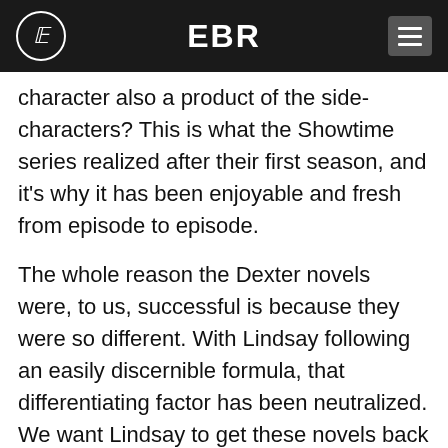EBR
character also a product of the side-characters? This is what the Showtime series realized after their first season, and it's why it has been enjoyable and fresh from episode to episode.
The whole reason the Dexter novels were, to us, successful is because they were so different. With Lindsay following an easily discernible formula, that differentiating factor has been neutralized. We want Lindsay to get these novels back on track… really, we do. He (Lindsay) needs to do something different without resorting to stupidity-inducing shock value. Do we think he will come up with something original to freshen up the series? No, because he poorly executed his plan in book 3 and panicked by going back to the standard formula in book 4. In DEXTER BY DESIGN,